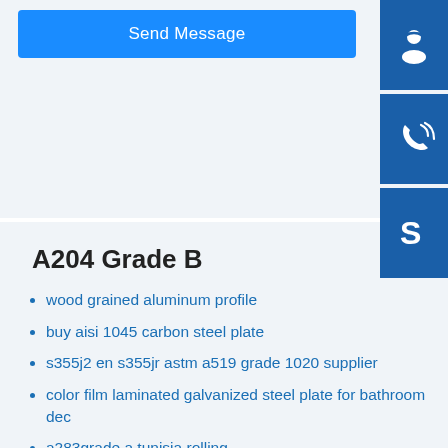Send Message
[Figure (illustration): Blue square icon with white headset/support agent silhouette]
[Figure (illustration): Blue square icon with white phone/call signal]
[Figure (illustration): Blue square icon with white Skype logo]
A204 Grade B
wood grained aluminum profile
buy aisi 1045 carbon steel plate
s355j2 en s355jr astm a519 grade 1020 supplier
color film laminated galvanized steel plate for bathroom dec
a283grade a tunisia rolling
good price hot rolled mild steel flat plate